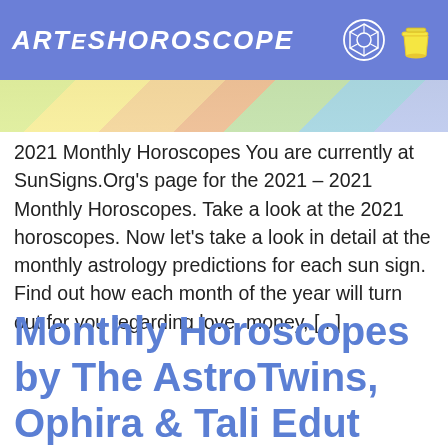ARTESHOROSCOPE
[Figure (illustration): Partial view of a colorful horoscope/zodiac illustration with various colored sections in yellow, green, teal, and blue.]
2021 Monthly Horoscopes You are currently at SunSigns.Org's page for the 2021 – 2021 Monthly Horoscopes. Take a look at the 2021 horoscopes. Now let's take a look in detail at the monthly astrology predictions for each sun sign. Find out how each month of the year will turn out for you regarding love, money, [...]
Monthly Horoscopes by The AstroTwins, Ophira & Tali Edut